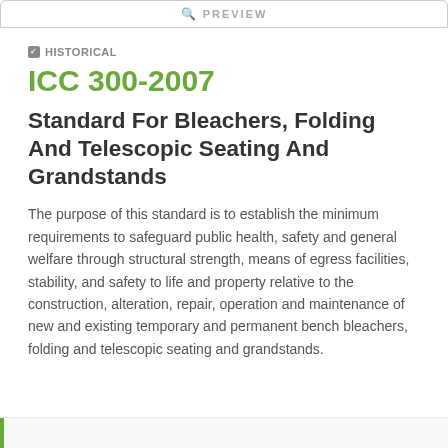PREVIEW
HISTORICAL
ICC 300-2007
Standard For Bleachers, Folding And Telescopic Seating And Grandstands
The purpose of this standard is to establish the minimum requirements to safeguard public health, safety and general welfare through structural strength, means of egress facilities, stability, and safety to life and property relative to the construction, alteration, repair, operation and maintenance of new and existing temporary and permanent bench bleachers, folding and telescopic seating and grandstands.